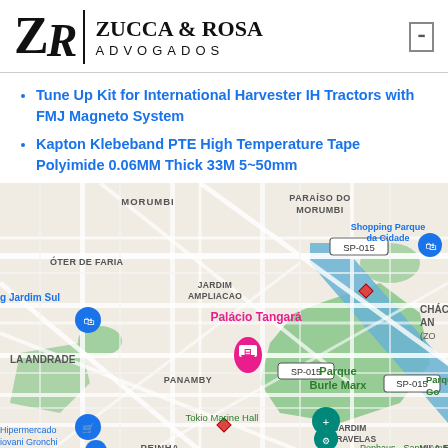[Figure (logo): Zucca & Rosa Advogados law firm logo with ZR monogram and divider]
Tune Up Kit for International Harvester IH Tractors with FMJ Magneto System
Kapton Klebeband PTE High Temperature Tape Polyimide 0.06MM Thick 33M 5~50mm
[Figure (map): Google Maps view showing Parque Burle Marx area in São Paulo, Brazil, with landmarks including Palácio Tangará, Shopping Parque da Cidade, Tokio Marine Hall, Hipermercado Giovani Gronchi, and Pophaus - Santo Amaro. Neighborhoods shown: Morumbi, Paraíso do Morumbi, Jardim Ampliação, Panamby, Jardim Caravelas, Vila Ei, Peinha, Chácara AN (ZO), La Andrade, Oter de Faria, Jardim Sul. Road SP-015 visible.]